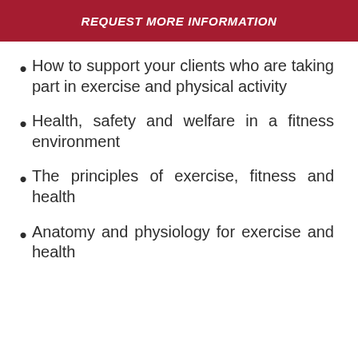REQUEST MORE INFORMATION
How to support your clients who are taking part in exercise and physical activity
Health, safety and welfare in a fitness environment
The principles of exercise, fitness and health
Anatomy and physiology for exercise and health